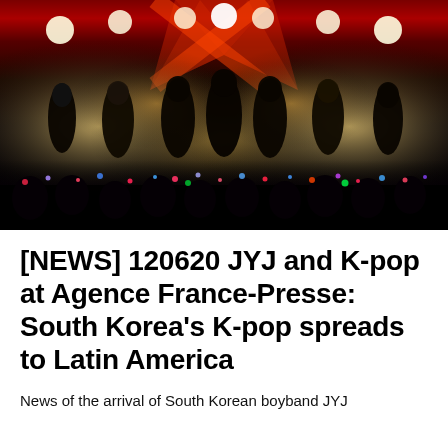[Figure (photo): K-pop group JYJ performing on stage with dramatic red and gold lighting, X-shaped light beams on backdrop, fans with phones and glowing lightsticks in foreground audience]
[NEWS] 120620 JYJ and K-pop at Agence France-Presse: South Korea's K-pop spreads to Latin America
News of the arrival of South Korean boyband JYJ